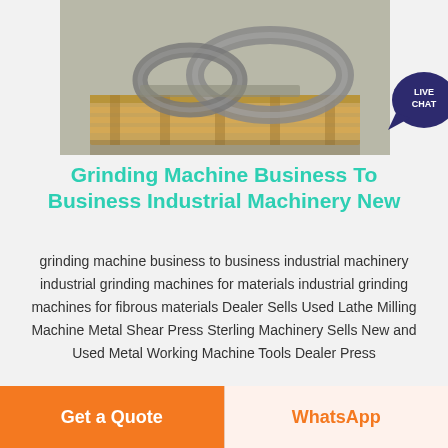[Figure (photo): Metal rings/coils on a wooden pallet on a concrete floor, industrial grinding machine parts]
Grinding Machine Business To Business Industrial Machinery New
grinding machine business to business industrial machinery industrial grinding machines for materials industrial grinding machines for fibrous materials Dealer Sells Used Lathe Milling Machine Metal Shear Press Sterling Machinery Sells New and Used Metal Working Machine Tools Dealer Press
Get a Quote
WhatsApp